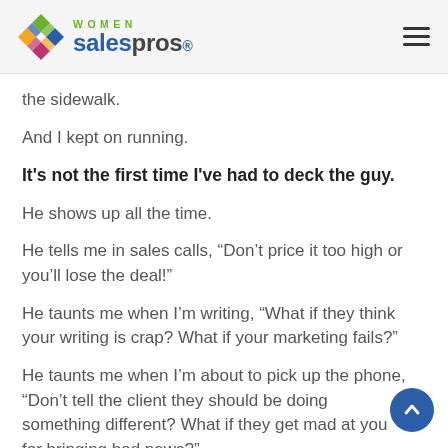[Figure (logo): Women Sales Pros logo with colorful diamond/X icon and text]
the sidewalk.
And I kept on running.
It's not the first time I've had to deck the guy.
He shows up all the time.
He tells me in sales calls, “Don’t price it too high or you’ll lose the deal!”
He taunts me when I’m writing, “What if they think your writing is crap? What if your marketing fails?”
He taunts me when I’m about to pick up the phone, “Don’t tell the client they should be doing something different? What if they get mad at you for bringing bad news?”